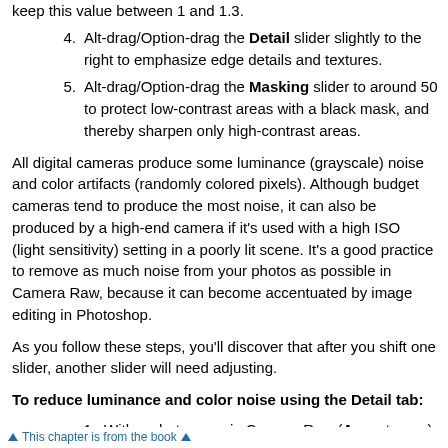4. Alt-drag/Option-drag the Detail slider slightly to the right to emphasize edge details and textures.
5. Alt-drag/Option-drag the Masking slider to around 50 to protect low-contrast areas with a black mask, and thereby sharpen only high-contrast areas.
All digital cameras produce some luminance (grayscale) noise and color artifacts (randomly colored pixels). Although budget cameras tend to produce the most noise, it can also be produced by a high-end camera if it's used with a high ISO (light sensitivity) setting in a poorly lit scene. It's a good practice to remove as much noise from your photos as possible in Camera Raw, because it can become accentuated by image editing in Photoshop.
As you follow these steps, you'll discover that after you shift one slider, another slider will need adjusting.
To reduce luminance and color noise using the Detail tab:
1. With a photo open in Camera Raw (A, next page), click the Detail tab and choose a zoom level of
This chapter is from the book